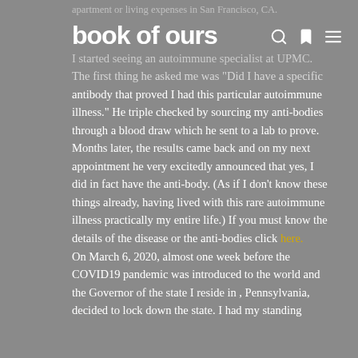apartment or living expenses in San Francisco, CA.
book of ours
I started seeing an autoimmune specialist at UPMC. The first thing he asked me was "Did I have a specific antibody that proved I had this particular autoimmune illness." He triple checked by sourcing my anti-bodies through a blood draw which he sent to a lab to prove. Months later, the results came back and on my next appointment he very excitedly announced that yes, I did in fact have the anti-body. (As if I don't know these things already, having lived with this rare autoimmune illness practically my entire life.) If you must know the details of the disease or the anti-bodies click here.
On March 6, 2020, almost one week before the COVID19 pandemic was introduced to the world and the Governor of the state I reside in , Pennsylvania, decided to lock down the state. I had my standing